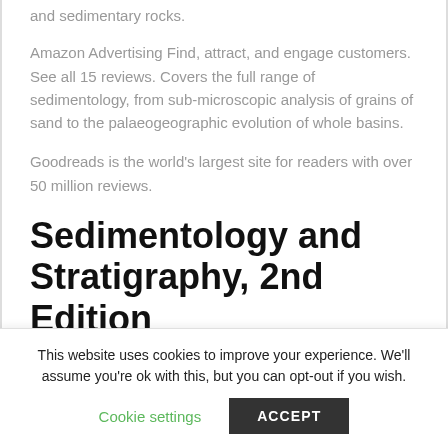and sedimentary rocks.
Amazon Advertising Find, attract, and engage customers. See all 15 reviews. Covers the full range of sedimentology, from sub-microscopic analysis of grains of sand to the palaeogeographic evolution of whole basins.
Goodreads is the world’s largest site for readers with over 50 million reviews.
Sedimentology and Stratigraphy, 2nd Edition
This website uses cookies to improve your experience. We'll assume you're ok with this, but you can opt-out if you wish.